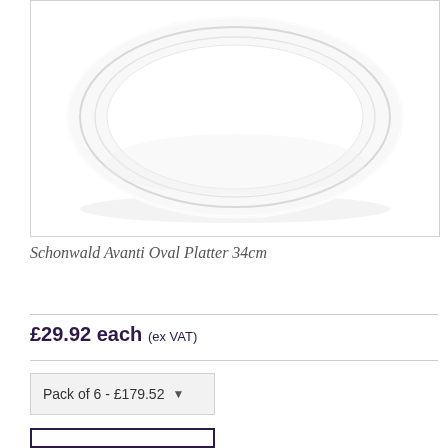[Figure (photo): White oval ceramic platter viewed from above, showing a plain white glazed surface with a subtle oval ridge detail near the rim, photographed against a white background.]
Schonwald Avanti Oval Platter 34cm
£29.92 each (ex VAT)
Pack of 6 - £179.52